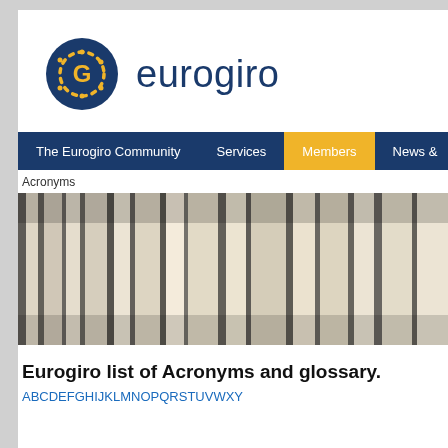[Figure (logo): Eurogiro logo: dark blue circle with gold dashed circular arrow/G symbol, next to 'eurogiro' text in dark blue]
The Eurogiro Community | Services | Members | News &
Acronyms
[Figure (photo): Close-up black and white photo of stacked papers or pages viewed from the side, showing layered edges]
Eurogiro list of Acronyms and glossary.
ABCDEFGHIJKLMNOPQRSTUVWXY